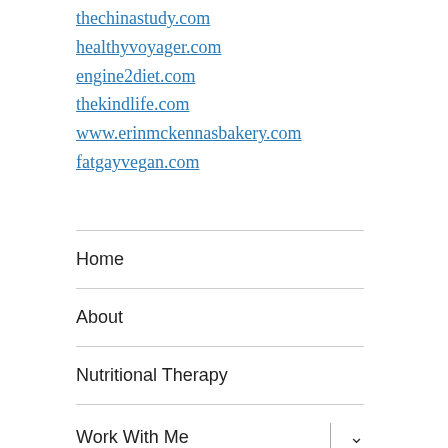thechinastudy.com
healthyvoyager.com
engine2diet.com
thekindlife.com
www.erinmckennasbakery.com
fatgayvegan.com
Home
About
Nutritional Therapy
Work With Me
Speaking